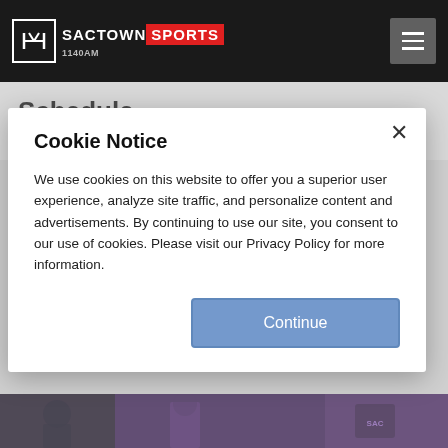SACTOWN SPORTS 1140AM
Schedule
5 days ago
Cookie Notice
We use cookies on this website to offer you a superior user experience, analyze site traffic, and personalize content and advertisements. By continuing to use our site, you consent to our use of cookies. Please visit our Privacy Policy for more information.
[Figure (photo): Basketball players in purple jerseys at bottom of page]